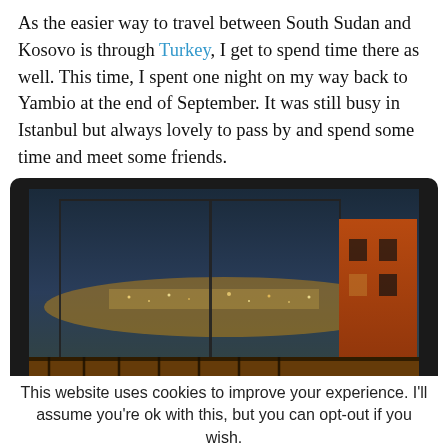As the easier way to travel between South Sudan and Kosovo is through Turkey, I get to spend time there as well. This time, I spent one night on my way back to Yambio at the end of September. It was still busy in Istanbul but always lovely to pass by and spend some time and meet some friends.
[Figure (photo): Night view of Istanbul from a rooftop terrace, showing city lights through large glass windows, with chairs and bicycles visible on the terrace.]
This website uses cookies to improve your experience. I'll assume you're ok with this, but you can opt-out if you wish.